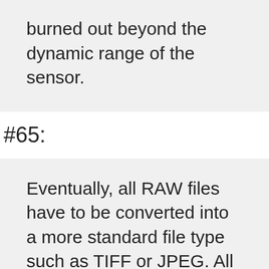burned out beyond the dynamic range of the sensor.
#65:
Eventually, all RAW files have to be converted into a more standard file type such as TIFF or JPEG. All RAW files have a proprietary extension (Nikon=NEF,